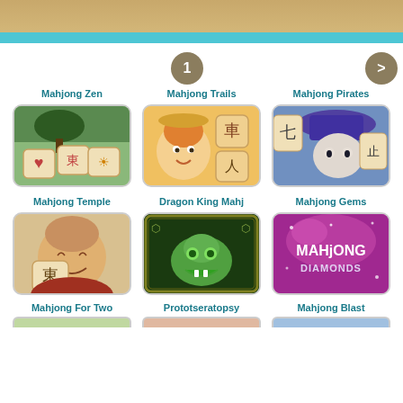[Figure (screenshot): Game listing webpage showing mahjong games in a grid layout with pagination. Header bar with tan/brown and teal colors at top. Page 1 button and next arrow. Six game thumbnails in two rows: Mahjong Zen, Mahjong Trails, Mahjong Pirates (row 1); Mahjong Temple, Dragon King Mah(jong), Mahjong Gems (row 2). Bottom row titles partially visible: Mahjong For Two, Prototseratopsy, Mahjong Blast.]